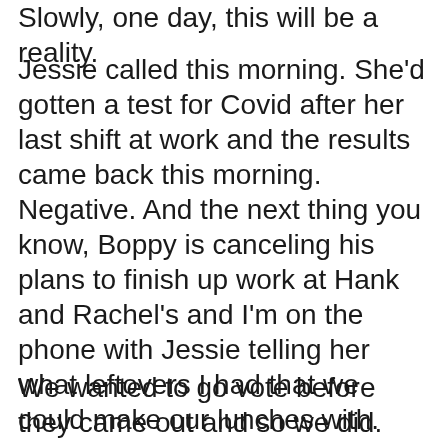Slowly, one day, this will be a reality.
Jessie called this morning. She'd gotten a test for Covid after her last shift at work and the results came back this morning.
Negative. And the next thing you know, Boppy is canceling his plans to finish up work at Hank and Rachel's and I'm on the phone with Jessie telling her what leftovers I had that we could make our lunches with.
We wanted to go vote before they came out and so we did.